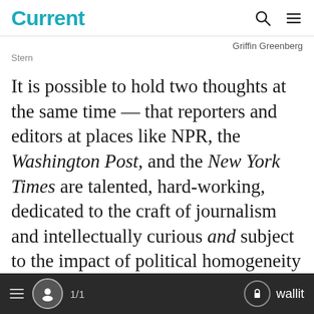Current
Griffin Greenberg
Stern
It is possible to hold two thoughts at the same time — that reporters and editors at places like NPR, the Washington Post, and the New York Times are talented, hard-working, dedicated to the craft of journalism and intellectually curious and subject to the impact of political homogeneity in the newsroom. The media generally, and NPR in particular, draw on a generally liberal pool of
1/1  wallit